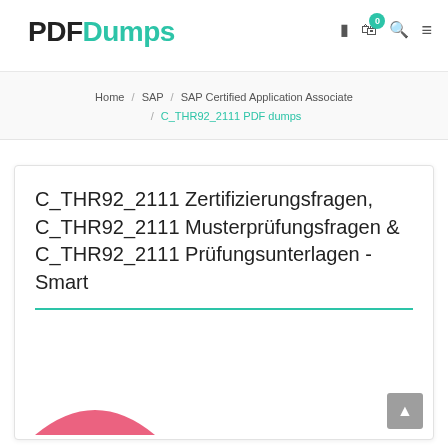PDFDumps
Home / SAP / SAP Certified Application Associate / C_THR92_2111 PDF dumps
C_THR92_2111 Zertifizierungsfragen, C_THR92_2111 Musterprüfungsfragen & C_THR92_2111 Prüfungsunterlagen - Smart